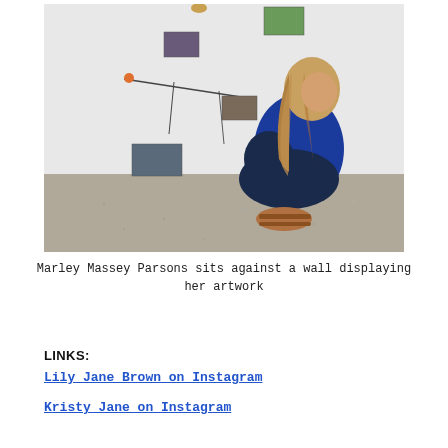[Figure (photo): A woman with long curly blonde hair wearing a blue top and dark jeans with tan sandals sits cross-legged on a concrete floor against a white wall displaying various artwork including small photographs and a branch-like sculpture.]
Marley Massey Parsons sits against a wall displaying her artwork
LINKS:
Lily Jane Brown on Instagram
Kristy Jane on Instagram